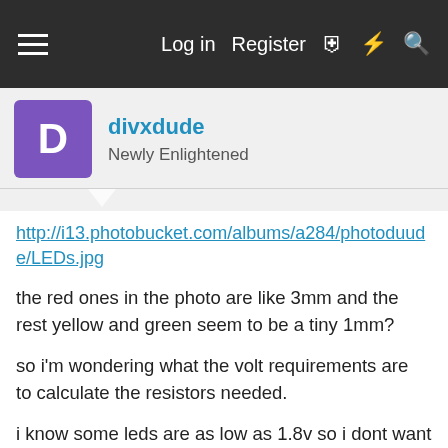≡   Log in   Register
divxdude
Newly Enlightened
http://i13.photobucket.com/albums/a284/photoduude/LEDs.jpg
the red ones in the photo are like 3mm and the rest yellow and green seem to be a tiny 1mm?
so i'm wondering what the volt requirements are to calculate the resistors needed.
i know some leds are as low as 1.8v so i dont want to cook them.
i will be using single LEDs in parellel with a resistorfor each the par. array formula for a 13.4v supply.